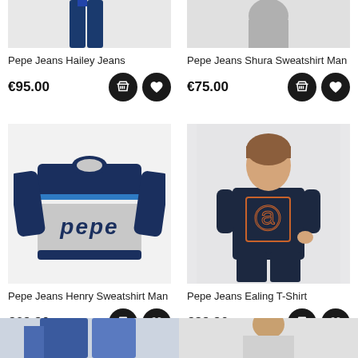[Figure (photo): Pepe Jeans Hailey Jeans product photo (partial, top cropped)]
Pepe Jeans Hailey Jeans
€95.00
[Figure (photo): Pepe Jeans Shura Sweatshirt Man product photo (partial, top cropped)]
Pepe Jeans Shura Sweatshirt Man
€75.00
[Figure (photo): Pepe Jeans Henry Sweatshirt Man - grey and navy blue sweater with Pepe logo]
Pepe Jeans Henry Sweatshirt Man
€69.90
[Figure (photo): Pepe Jeans Ealing T-Shirt - man wearing navy blue t-shirt with Pepe logo]
Pepe Jeans Ealing T-Shirt
€39.90
[Figure (photo): Bottom row partial product photos (two items, cropped)]